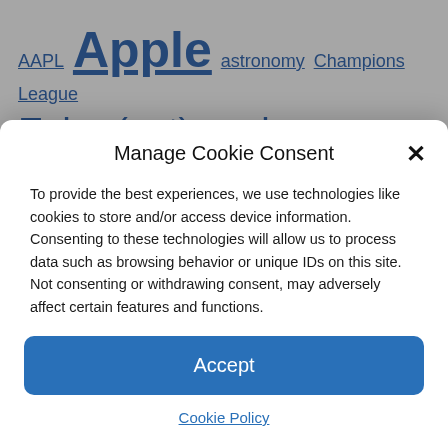[Figure (screenshot): Tag cloud with blue hyperlinked words of varying sizes: AAPL, Apple, astronomy, Champions League, Echo (cat), ecology, Elon Musk, fauna and flora, figaro, football, France, French Cup, google, health, information, investment, iPhone, [partial words], League 1]
Manage Cookie Consent
To provide the best experiences, we use technologies like cookies to store and/or access device information. Consenting to these technologies will allow us to process data such as browsing behavior or unique IDs on this site. Not consenting or withdrawing consent, may adversely affect certain features and functions.
Accept
Cookie Policy